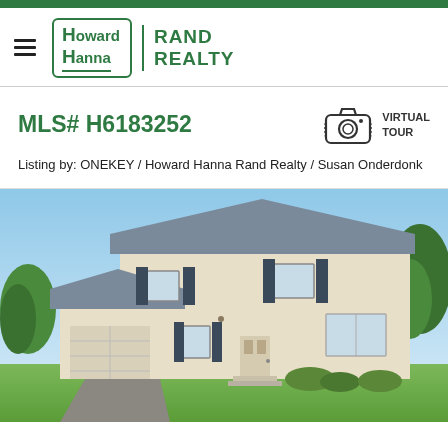Howard Hanna | RAND REALTY
MLS# H6183252
VIRTUAL TOUR
Listing by: ONEKEY / Howard Hanna Rand Realty / Susan Onderdonk
[Figure (photo): Exterior photo of a two-story colonial style house with beige siding, dark shutters, attached garage, and landscaped front yard under a blue sky.]